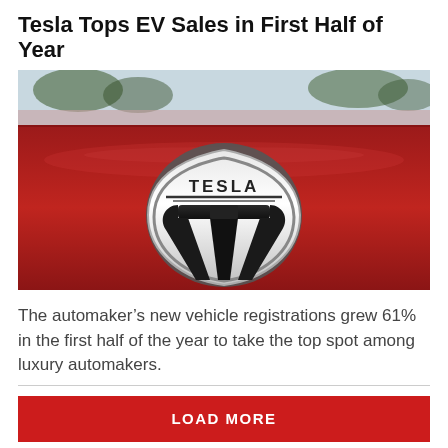Tesla Tops EV Sales in First Half of Year
[Figure (photo): Close-up photo of a red Tesla vehicle hood with the chrome and black Tesla shield logo badge centered prominently. Trees and sky are reflected in the glossy surface.]
The automaker's new vehicle registrations grew 61% in the first half of the year to take the top spot among luxury automakers.
LOAD MORE